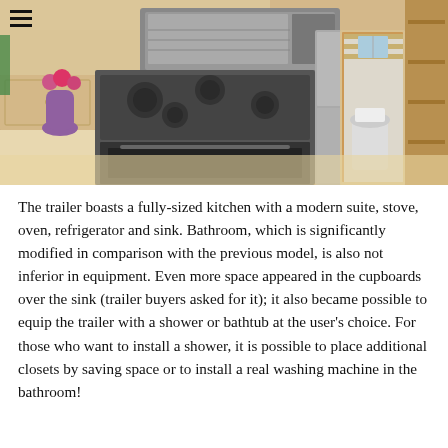[Figure (photo): Interior photo of a tiny home trailer showing a fully-equipped kitchen with stainless steel stove, oven, microwave above, refrigerator, light wood cabinets, purple vase with pink flowers, green towel, and a glimpse of the bathroom with toilet and wood-paneled walls.]
The trailer boasts a fully-sized kitchen with a modern suite, stove, oven, refrigerator and sink. Bathroom, which is significantly modified in comparison with the previous model, is also not inferior in equipment. Even more space appeared in the cupboards over the sink (trailer buyers asked for it); it also became possible to equip the trailer with a shower or bathtub at the user's choice. For those who want to install a shower, it is possible to place additional closets by saving space or to install a real washing machine in the bathroom!